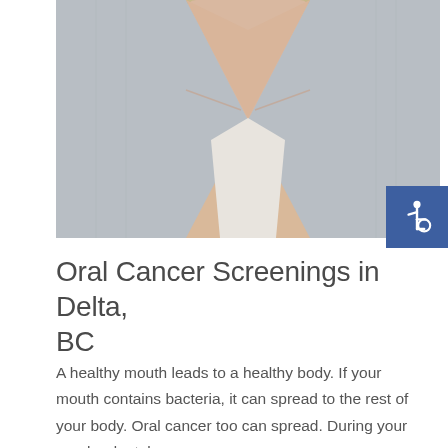[Figure (photo): Photo of a middle-aged woman with blonde bob hair wearing a light grey cardigan and white undershirt, showing her neck and upper chest area against a light grey background.]
Oral Cancer Screenings in Delta, BC
A healthy mouth leads to a healthy body. If your mouth contains bacteria, it can spread to the rest of your body. Oral cancer too can spread. During your regular dental exam, your…